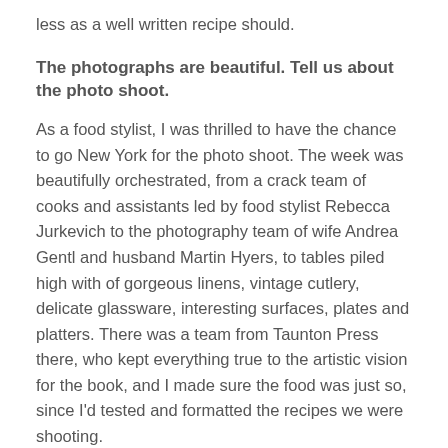less as a well written recipe should.
The photographs are beautiful. Tell us about the photo shoot.
As a food stylist, I was thrilled to have the chance to go New York for the photo shoot. The week was beautifully orchestrated, from a crack team of cooks and assistants led by food stylist Rebecca Jurkevich to the photography team of wife Andrea Gentl and husband Martin Hyers, to tables piled high with of gorgeous linens, vintage cutlery, delicate glassware, interesting surfaces, plates and platters. There was a team from Taunton Press there, who kept everything true to the artistic vision for the book, and I made sure the food was just so, since I'd tested and formatted the recipes we were shooting.
It's no small feat to gather that number of people, unite their goals and meet an aggressive deadline –